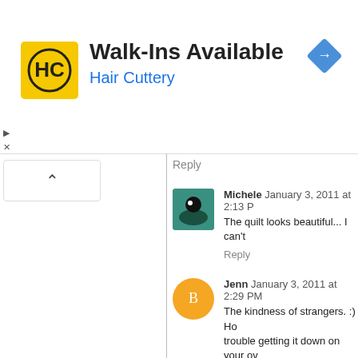[Figure (screenshot): Advertisement banner for Hair Cuttery: Walk-Ins Available, with HC logo and blue diamond navigation icon]
Reply
Michele  January 3, 2011 at 2:13 P... The quilt looks beautiful... I can't...  Reply
Jenn  January 3, 2011 at 2:29 PM  The kindness of strangers. :) Ho... trouble getting it down on your ov...  Reply
Flo @ Butterfly Quilting  Januar... too funny! Sometimes (most times...